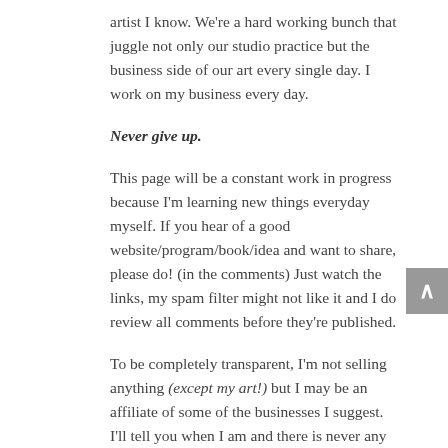artist I know. We're a hard working bunch that juggle not only our studio practice but the business side of our art every single day. I work on my business every day.
Never give up.
This page will be a constant work in progress because I'm learning new things everyday myself. If you hear of a good website/program/book/idea and want to share, please do! (in the comments) Just watch the links, my spam filter might not like it and I do review all comments before they're published.
To be completely transparent, I'm not selling anything (except my art!) but I may be an affiliate of some of the businesses I suggest. I'll tell you when I am and there is never any pressure to buy. Trust me, if I didn't believe in them, I wouldn't give them any valuable space on my website. To be an affiliate